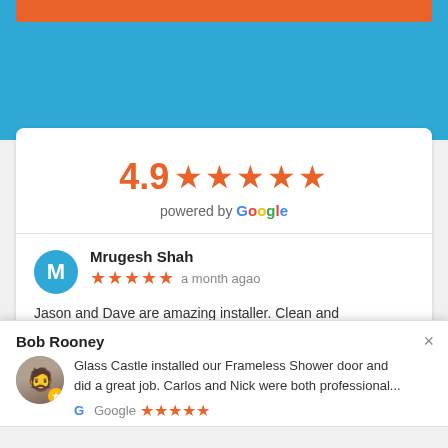[Figure (screenshot): Blue banner with orange bar at top]
4.9 ★★★★★ powered by Google
Mrugesh Shah ★★★★★ a month agao Jason and Dave are amazing installer. Clean and great job installing and explained in detail. The whole process from measuring to price quote to ordering and installing has been simple, reliable
Bob Rooney Glass Castle installed our Frameless Shower door and did a great job. Carlos and Nick were both professional... Google ★★★★★